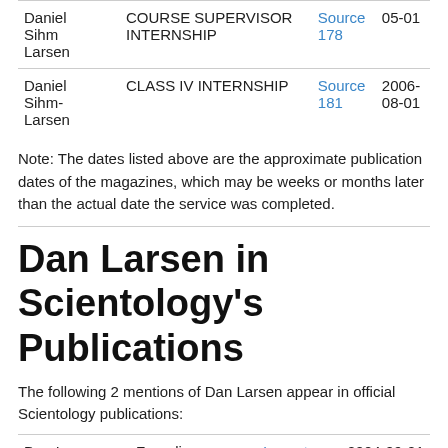| Name | Description | Source | Date |
| --- | --- | --- | --- |
| Daniel Sihm Larsen | COURSE SUPERVISOR INTERNSHIP | Source 178 | 05-01 |
| Daniel Sihm-Larsen | CLASS IV INTERNSHIP | Source 181 | 2006-08-01 |
Note: The dates listed above are the approximate publication dates of the magazines, which may be weeks or months later than the actual date the service was completed.
Dan Larsen in Scientology's Publications
The following 2 mentions of Dan Larsen appear in official Scientology publications:
| Name | Description | Source | Date |
| --- | --- | --- | --- |
| Dan Larsen | Founding Patrons | Impact 109 | 2004-09-01 |
| Dan Larsen | Patrons | Impact 114 | 2006-09-01 |